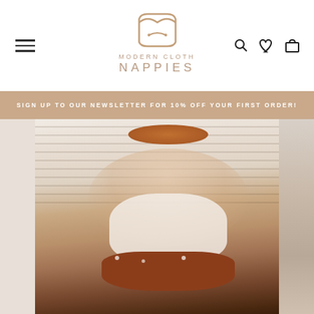[Figure (logo): Modern Cloth Nappies logo with envelope/nappy icon in tan/brown color]
SIGN UP TO OUR NEWSLETTER FOR 10% OFF YOUR FIRST ORDER!
[Figure (photo): Baby yawning while lying on a striped blanket, wearing a white top and rust-colored floral nappy/diaper, with an orange bow headband]